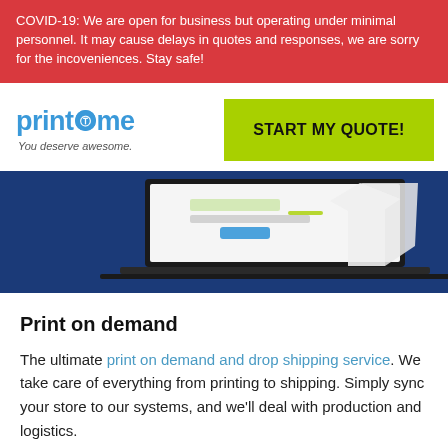COVID-19: We are open for business but operating under minimal personnel. It may cause delays in quotes and responses, we are sorry for the incoveniences. Stay safe!
[Figure (logo): Printsome logo with blue text and circular icon, tagline: You deserve awesome.]
START MY QUOTE!
[Figure (screenshot): Hero image with dark blue background showing a laptop screen with a website interface and a folded white t-shirt]
Print on demand
The ultimate print on demand and drop shipping service. We take care of everything from printing to shipping. Simply sync your store to our systems, and we'll deal with production and logistics.